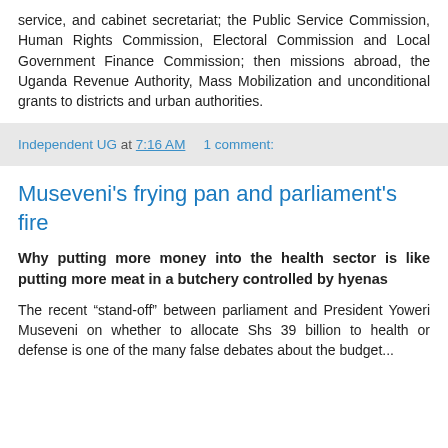service, and cabinet secretariat; the Public Service Commission, Human Rights Commission, Electoral Commission and Local Government Finance Commission; then missions abroad, the Uganda Revenue Authority, Mass Mobilization and unconditional grants to districts and urban authorities.
Independent UG at 7:16 AM    1 comment:
Museveni's frying pan and parliament's fire
Why putting more money into the health sector is like putting more meat in a butchery controlled by hyenas
The recent “stand-off” between parliament and President Yoweri Museveni on whether to allocate Shs 39 billion to health or defense is one of the many false debates about the budget...